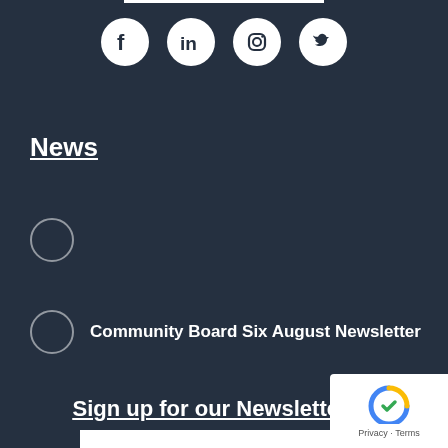[Figure (illustration): Social media icons: Facebook, LinkedIn, Instagram, Twitter in white circles on dark background]
News
Community Board Six August Newsletter
Sign up for our Newsletter
[Figure (other): reCAPTCHA badge with Privacy and Terms text]